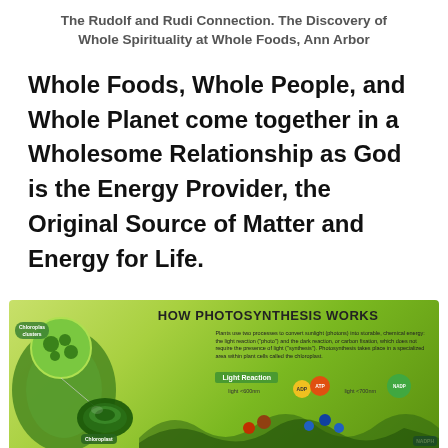The Rudolf and Rudi Connection. The Discovery of Whole Spirituality at Whole Foods, Ann Arbor
Whole Foods, Whole People, and Whole Planet come together in a Wholesome Relationship as God is the Energy Provider, the Original Source of Matter and Energy for Life.
[Figure (infographic): Infographic titled 'HOW PHOTOSYNTHESIS WORKS'. Shows a green leaf background with diagrams of chloroplast clusters, a chloroplast cross-section, and the Light Reaction process. Includes labels for ADP, ATP, NADP, NADPH, light wavelengths (~600nm and ~700nm). Text explains plants use two processes to convert sunlight (photons) into storable chemical energy: the light reaction ('photo') and the dark reaction, or carbon fixation, which does not require presence of light ('synthesis'). Photosynthesis takes place in a specialized area within plant cells called the chloroplast.]